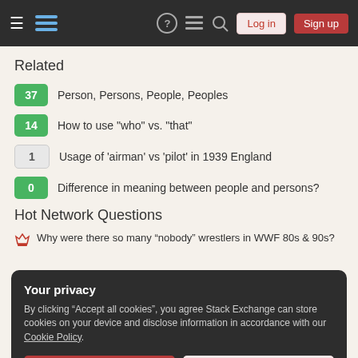Stack Exchange navigation bar with Log in and Sign up buttons
Related
37 Person, Persons, People, Peoples
14 How to use "who" vs. "that"
1 Usage of 'airman' vs 'pilot' in 1939 England
0 Difference in meaning between people and persons?
Hot Network Questions
Why were there so many “nobody” wrestlers in WWF 80s & 90s?
Your privacy
By clicking “Accept all cookies”, you agree Stack Exchange can store cookies on your device and disclose information in accordance with our Cookie Policy.
Definition of Polynomials in Hoffman’s Linear Algebra